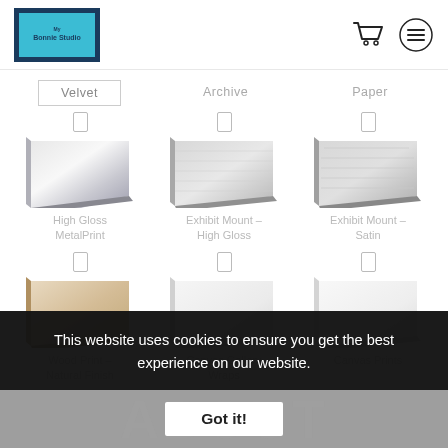Bonnie Studio — header with logo, cart icon, and menu icon
Velvet (active tab)
Archive
Paper
[Figure (photo): High Gloss MetalPrint product thumbnail — shiny metallic corner view]
High Gloss MetalPrint
[Figure (photo): Exhibit Mount - High Gloss product thumbnail — brushed metallic corner]
Exhibit Mount – High Gloss
[Figure (photo): Exhibit Mount - Satin product thumbnail — brushed satin metallic corner]
Exhibit Mount – Satin
[Figure (photo): Wood Print - Natural Finish product thumbnail — wood frame corner, natural wood color]
Wood Print – Natural Finish
[Figure (photo): Canvas Gallery Wraps product thumbnail — white canvas corner]
Canvas Gallery Wraps
[Figure (photo): Canvas Prints product thumbnail — white canvas corner]
Canvas Prints
This website uses cookies to ensure you get the best experience on our website.
Got it!